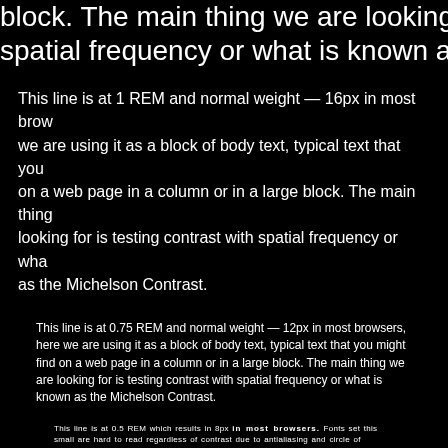block. The main thing we are looking for is testing spatial frequency or what is known as the Michelson Contrast.
This line is at 1 REM and normal weight — 16px in most browsers, we are using it as a block of body text, typical text that you find on a web page in a column or in a large block. The main thing we are looking for is testing contrast with spatial frequency or what is known as the Michelson Contrast.
This line is at 0.75 REM and normal weight — 12px in most browsers, here we are using it as a block of body text, typical text that you might find on a web page in a column or in a large block. The main thing we are looking for is testing contrast with spatial frequency or what is known as the Michelson Contrast.
This line is at 0.5 REM which results in 8px in most browsers. Fonts set this small are hard to read regardless of contrast due to antialiasing and circle of confusion. If this text is set to 600, it helps to overcome the antialiasing effects. Incidentally, the font for this page is Helvetica Neue, and font being considered as a standard comparison font for indexing purposes. This text is not at all accessible, but could be used in places where legibility is not needed, such as copyright notices.